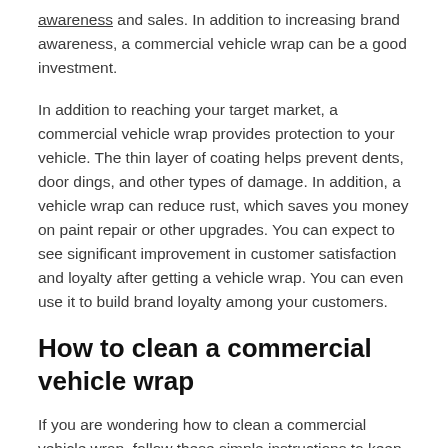awareness and sales. In addition to increasing brand awareness, a commercial vehicle wrap can be a good investment.
In addition to reaching your target market, a commercial vehicle wrap provides protection to your vehicle. The thin layer of coating helps prevent dents, door dings, and other types of damage. In addition, a vehicle wrap can reduce rust, which saves you money on paint repair or other upgrades. You can expect to see significant improvement in customer satisfaction and loyalty after getting a vehicle wrap. You can even use it to build brand loyalty among your customers.
How to clean a commercial vehicle wrap
If you are wondering how to clean a commercial vehicle wrap, follow these simple instructions to keep it looking its best. First, use a diluted solution of rubbing alcohol to remove small